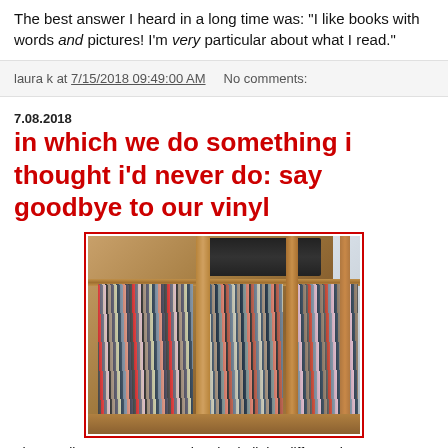The best answer I heard in a long time was: "I like books with words and pictures! I'm very particular about what I read."
laura k at 7/15/2018 09:49:00 AM    No comments:
7.08.2018
in which we do something i thought i'd never do: say goodbye to our vinyl
[Figure (photo): Wooden shelving unit filled with vinyl record albums, viewed at an angle. Multiple compartments visible with records standing upright. A stereo component visible on top.]
They really g_______ s___ they had all the different b___